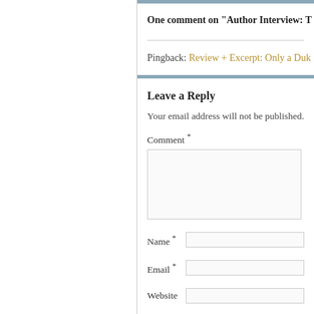One comment on “Author Interview: T
Pingback: Review + Excerpt: Only a Duk
Leave a Reply
Your email address will not be published.
Comment *
Name *
Email *
Website